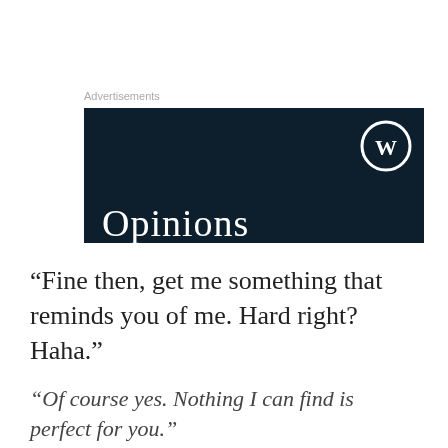Advertisements
[Figure (screenshot): Dark navy WordPress advertisement banner with WordPress logo (circle W) in top right and 'Opinions' text beginning to show at bottom left]
“Fine then, get me something that reminds you of me. Hard right? Haha.”
“Of course yes. Nothing I can find is perfect for you.”
Privacy & Cookies: This site uses cookies. By continuing to use this website, you agree to their use.
To find out more, including how to control cookies, see here: Cookie Policy
Close and accept
“Yes it is impossible. Not everything and everyone has